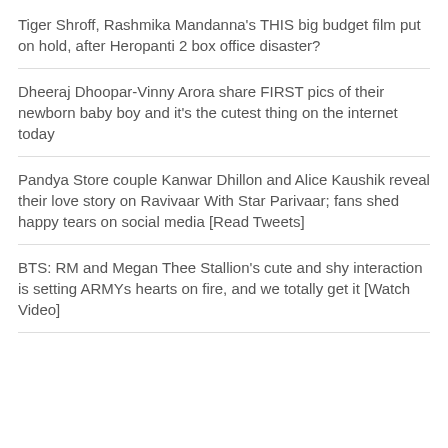Tiger Shroff, Rashmika Mandanna's THIS big budget film put on hold, after Heropanti 2 box office disaster?
Dheeraj Dhoopar-Vinny Arora share FIRST pics of their newborn baby boy and it's the cutest thing on the internet today
Pandya Store couple Kanwar Dhillon and Alice Kaushik reveal their love story on Ravivaar With Star Parivaar; fans shed happy tears on social media [Read Tweets]
BTS: RM and Megan Thee Stallion's cute and shy interaction is setting ARMYs hearts on fire, and we totally get it [Watch Video]
Recent Comments
No comments to show.